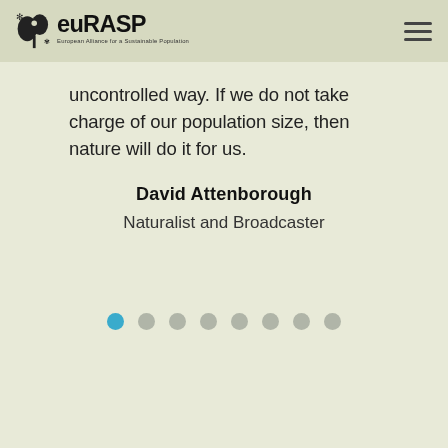euRASP – European Alliance for a Sustainable Population
uncontrolled way. If we do not take charge of our population size, then nature will do it for us.
David Attenborough
Naturalist and Broadcaster